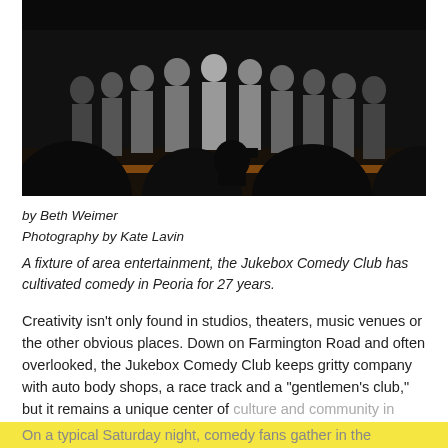[Figure (photo): A group of performers standing on stage at what appears to be the Jukebox Comedy Club, with audience silhouettes visible in the foreground. The performers are applauding and posing for the photo.]
by Beth Weimer
Photography by Kate Lavin
A fixture of area entertainment, the Jukebox Comedy Club has cultivated comedy in Peoria for 27 years.
Creativity isn't only found in studios, theaters, music venues or the other obvious places. Down on Farmington Road and often overlooked, the Jukebox Comedy Club keeps gritty company with auto body shops, a race track and a "gentlemen's club," but it remains a unique center of culture and community in Peoria.

On a typical Saturday night, comedy fans gather in the